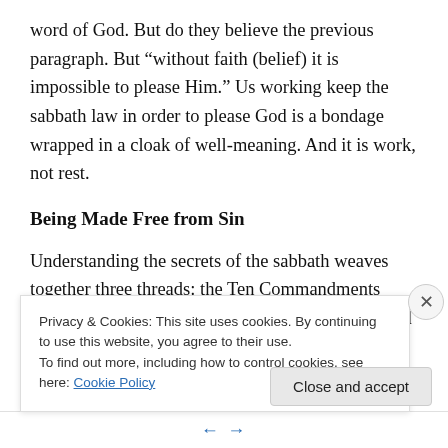word of God. But do they believe the previous paragraph. But “without faith (belief) it is impossible to please Him.” Us working keep the sabbath law in order to please God is a bondage wrapped in a cloak of well-meaning. And it is work, not rest.
Being Made Free from Sin
Understanding the secrets of the sabbath weaves together three threads: the Ten Commandments which includes the sabbath commandment; sin, and the cross of Christ. One
Privacy & Cookies: This site uses cookies. By continuing to use this website, you agree to their use.
To find out more, including how to control cookies, see here: Cookie Policy
Close and accept